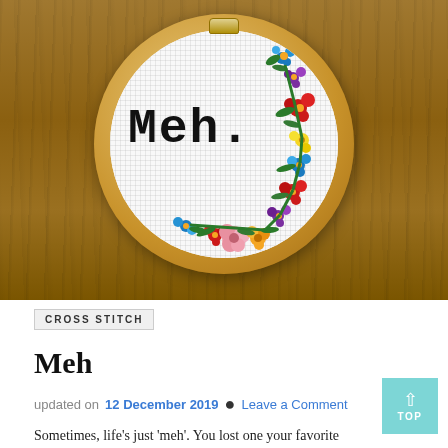[Figure (photo): A cross-stitch embroidery hoop mounted on a wooden background. The hoop shows 'Meh.' stitched in large black letters with a colorful floral wreath decoration in red, blue, yellow, green, and pink.]
CROSS STITCH
Meh
updated on 12 December 2019  Leave a Comment
Sometimes, life's just 'meh'. You lost one your favorite